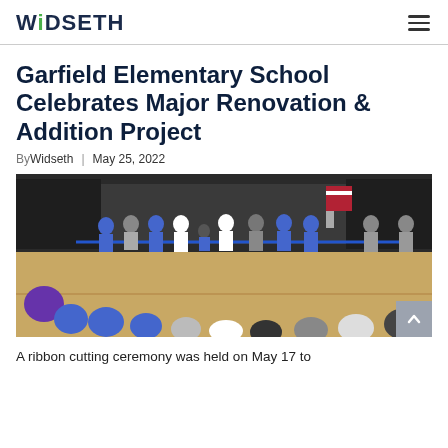WiDSETH
Garfield Elementary School Celebrates Major Renovation & Addition Project
By Widseth | May 25, 2022
[Figure (photo): Ribbon cutting ceremony in a school gymnasium. People in blue shirts and lanyards hold a blue ribbon while children sit on the gym floor watching.]
A ribbon cutting ceremony was held on May 17 to